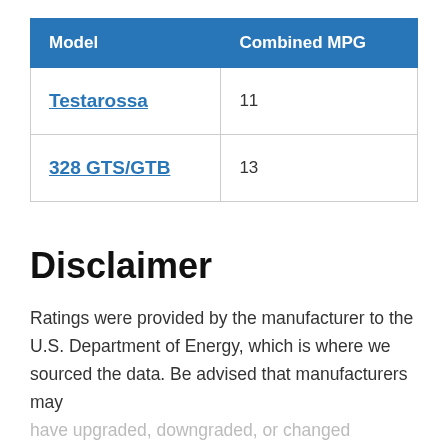| Model | Combined MPG |
| --- | --- |
| Testarossa | 11 |
| 328 GTS/GTB | 13 |
Disclaimer
Ratings were provided by the manufacturer to the U.S. Department of Energy, which is where we sourced the data. Be advised that manufacturers may have upgraded, downgraded, or changed the ratings following submission to the